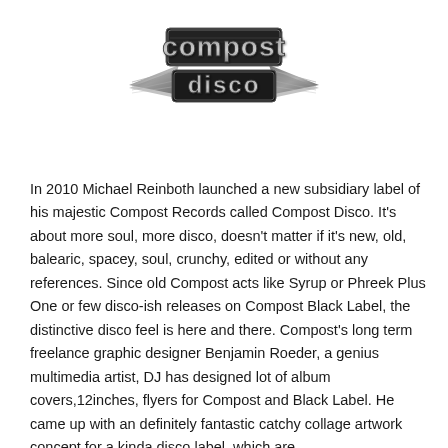[Figure (logo): Compost Disco logo — stylized chrome/metallic text reading 'compost disco' with wing-like graphic elements on either side, rendered in a reflective dark metal style.]
In 2010 Michael Reinboth launched a new subsidiary label of his majestic Compost Records called Compost Disco. It's about more soul, more disco, doesn't matter if it's new, old, balearic, spacey, soul, crunchy, edited or without any references. Since old Compost acts like Syrup or Phreek Plus One or few disco-ish releases on Compost Black Label, the distinctive disco feel is here and there. Compost's long term freelance graphic designer Benjamin Roeder, a genius multimedia artist, DJ has designed lot of album covers,12inches, flyers for Compost and Black Label. He came up with an definitely fantastic catchy collage artwork concept for a kinda disco label, which are